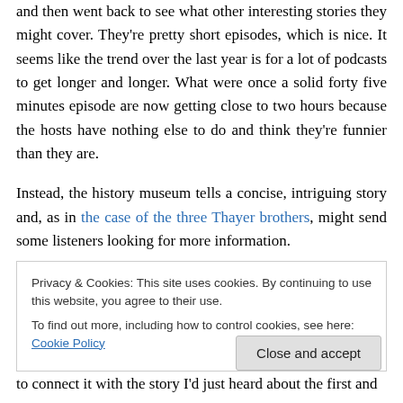and then went back to see what other interesting stories they might cover. They're pretty short episodes, which is nice. It seems like the trend over the last year is for a lot of podcasts to get longer and longer. What were once a solid forty five minutes episode are now getting close to two hours because the hosts have nothing else to do and think they're funnier than they are.
Instead, the history museum tells a concise, intriguing story and, as in the case of the three Thayer brothers, might send some listeners looking for more information.
Privacy & Cookies: This site uses cookies. By continuing to use this website, you agree to their use. To find out more, including how to control cookies, see here: Cookie Policy
Close and accept
to connect it with the story I'd just heard about the first and